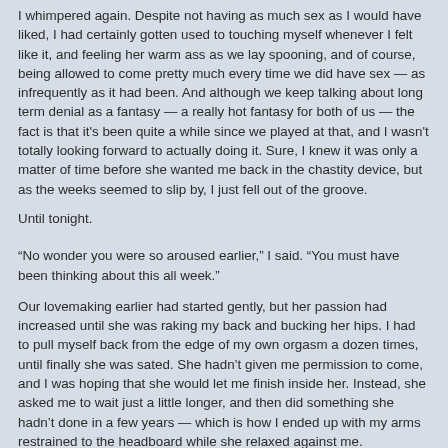I whimpered again. Despite not having as much sex as I would have liked, I had certainly gotten used to touching myself whenever I felt like it, and feeling her warm ass as we lay spooning, and of course, being allowed to come pretty much every time we did have sex — as infrequently as it had been. And although we keep talking about long term denial as a fantasy — a really hot fantasy for both of us — the fact is that it's been quite a while since we played at that, and I wasn't totally looking forward to actually doing it. Sure, I knew it was only a matter of time before she wanted me back in the chastity device, but as the weeks seemed to slip by, I just fell out of the groove.
Until tonight.
“No wonder you were so aroused earlier,” I said. “You must have been thinking about this all week.”
Our lovemaking earlier had started gently, but her passion had increased until she was raking my back and bucking her hips. I had to pull myself back from the edge of my own orgasm a dozen times, until finally she was sated. She hadn’t given me permission to come, and I was hoping that she would let me finish inside her. Instead, she asked me to wait just a little longer, and then did something she hadn’t done in a few years — which is how I ended up with my arms restrained to the headboard while she relaxed against me.